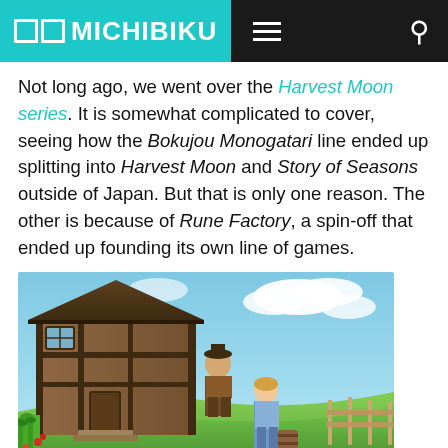⬜⬜ MICHIBIKU
Not long ago, we went over the Harvest Moon series. It is somewhat complicated to cover, seeing how the Bokujou Monogatari line ended up splitting into Harvest Moon and Story of Seasons outside of Japan. But that is only one reason. The other is because of Rune Factory, a spin-off that ended up founding its own line of games.
[Figure (photo): Screenshot from a Rune Factory game showing two anime-style characters standing in front of a wooden Tudor-style building on a green grassy hill with a blue sky in the background. Crops and flowers are visible in the foreground.]